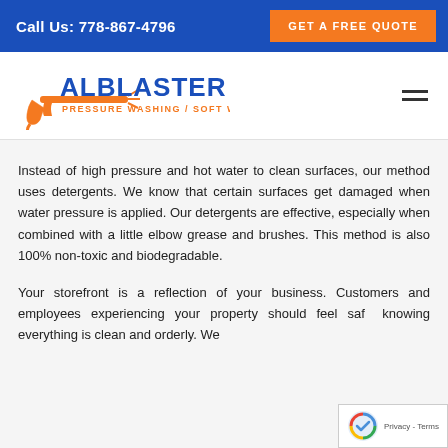Call Us: 778-867-4796 | GET A FREE QUOTE
[Figure (logo): AlBlaster Pressure Washing / Soft Washing logo with pressure washer gun graphic in orange and blue]
Instead of high pressure and hot water to clean surfaces, our method uses detergents. We know that certain surfaces get damaged when water pressure is applied. Our detergents are effective, especially when combined with a little elbow grease and brushes. This method is also 100% non-toxic and biodegradable.
Your storefront is a reflection of your business. Customers and employees experiencing your property should feel safe knowing everything is clean and orderly. We